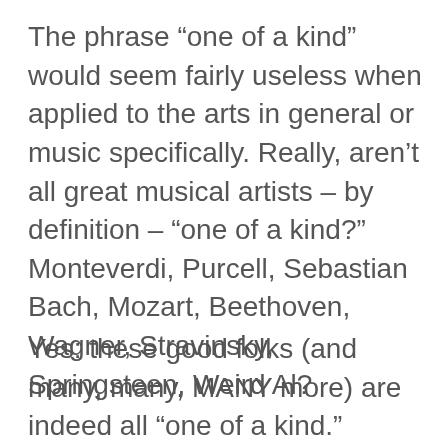The phrase “one of a kind” would seem fairly useless when applied to the arts in general or music specifically. Really, aren’t all great musical artists – by definition – “one of a kind?” Monteverdi, Purcell, Sebastian Bach, Mozart, Beethoven, Wagner, Stravinsky, Springsteen, Weird Al?
Yes: these good folks (and many, many, MANY more) are indeed all “one of a kind.”